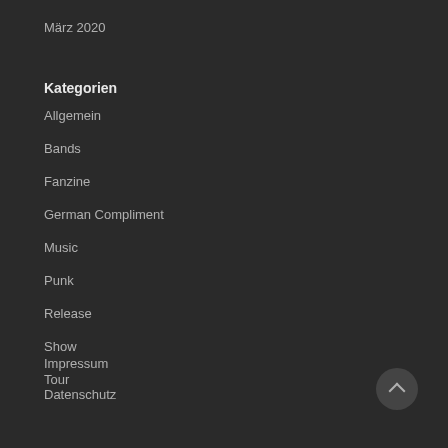März 2020
Kategorien
Allgemein
Bands
Fanzine
German Compliment
Music
Punk
Release
Show
Tour
Impressum
Datenschutz